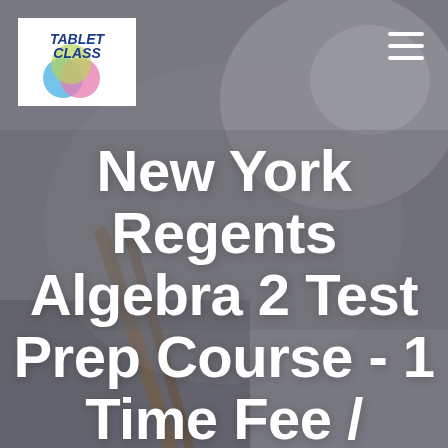[Figure (logo): TabletClass logo with blue italic text TABLET CLASS and colorful overlapping circles (blue, pink, yellow-green)]
New York Regents Algebra 2 Test Prep Course - 1 Time Fee / Unlimited Access / No Expiration –